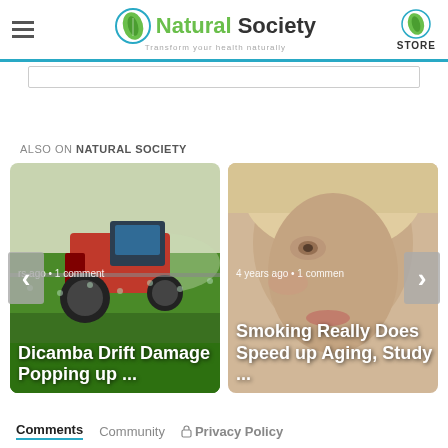Natural Society - Transform your health naturally
ALSO ON NATURAL SOCIETY
[Figure (photo): Tractor spraying pesticides in a green field - article: Dicamba Drift Damage Popping up ...]
rs ago • 1 comment
Dicamba Drift Damage Popping up ...
[Figure (photo): Close-up of a woman's face - article: Smoking Really Does Speed up Aging, Study ...]
4 years ago • 1 comment
Smoking Really Does Speed up Aging, Study ...
Comments   Community   Privacy Policy